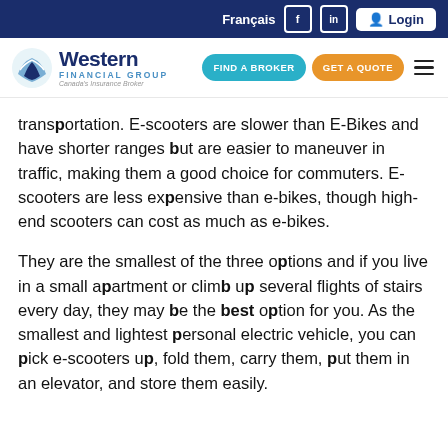Français | Login | Western Financial Group — Canada's Insurance Broker | FIND A BROKER | GET A QUOTE
transportation. E-scooters are slower than E-Bikes and have shorter ranges but are easier to maneuver in traffic, making them a good choice for commuters. E-scooters are less expensive than e-bikes, though high-end scooters can cost as much as e-bikes.
They are the smallest of the three options and if you live in a small apartment or climb up several flights of stairs every day, they may be the best option for you. As the smallest and lightest personal electric vehicle, you can pick e-scooters up, fold them, carry them, put them in an elevator, and store them easily.